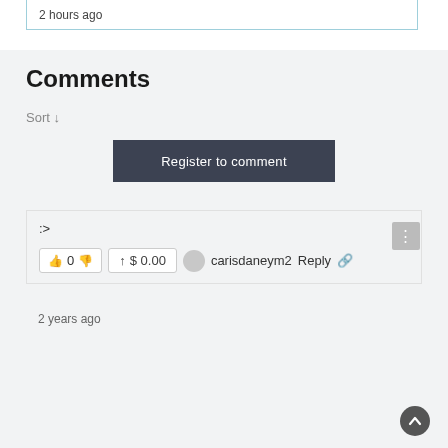2 hours ago
Comments
Sort ↓
Register to comment
:>
👍 0 👎  ↑ $0.00   carisdaneym2  Reply  🔗
2 years ago